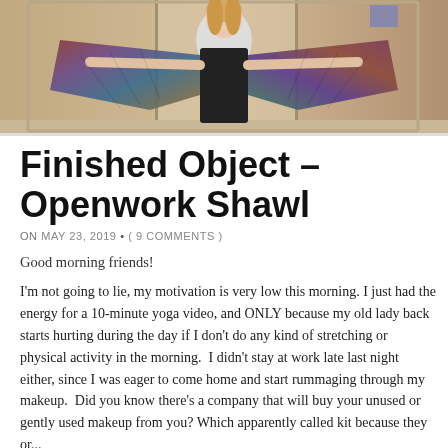[Figure (photo): Person wearing a black sleeveless dress with a colorful openwork shawl spread wide, standing in front of a door, viewed in a mirror]
Finished Object – Openwork Shawl
ON MAY 23, 2019 • ( 9 COMMENTS )
Good morning friends!
I'm not going to lie, my motivation is very low this morning. I just had the energy for a 10-minute yoga video, and ONLY because my old lady back starts hurting during the day if I don't do any kind of stretching or physical activity in the morning.  I didn't stay at work late last night either, since I was eager to come home and start rummaging through my makeup.  Did you know there's a company that will buy your unused or gently used makeup from you? Which is apparently called kit because they or...